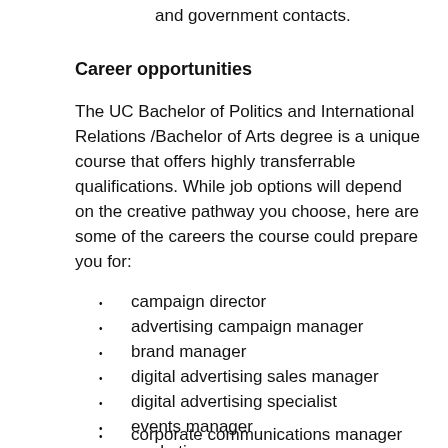and government contacts.
Career opportunities
The UC Bachelor of Politics and International Relations /Bachelor of Arts degree is a unique course that offers highly transferrable qualifications. While job options will depend on the creative pathway you choose, here are some of the careers the course could prepare you for:
campaign director
advertising campaign manager
brand manager
digital advertising sales manager
digital advertising specialist
events manager
marketing manager
media analyst
publicist
freelance consultant
public affairs manager
corporate communications manager